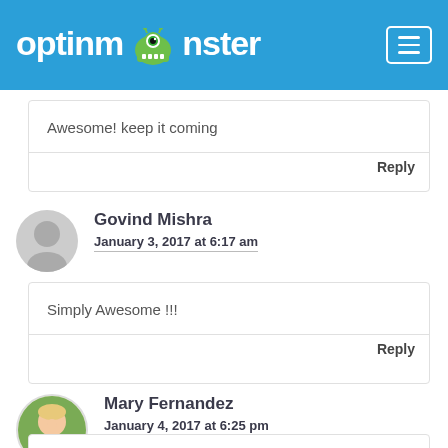optinmonster
Awesome! keep it coming
Reply
Govind Mishra
January 3, 2017 at 6:17 am
Simply Awesome !!!
Reply
Mary Fernandez
January 4, 2017 at 6:25 pm